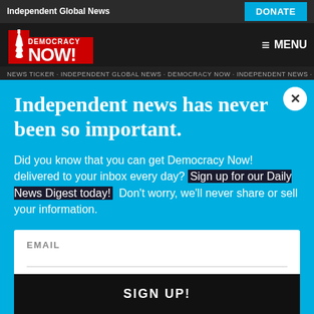Independent Global News | DONATE
[Figure (logo): Democracy Now! logo with Statue of Liberty fist graphic in red and white]
≡ MENU
× (close button)
Independent news has never been so important.
Did you know that you can get Democracy Now! delivered to your inbox every day? Sign up for our Daily News Digest today! Don't worry, we'll never share or sell your information.
EMAIL
SIGN UP!